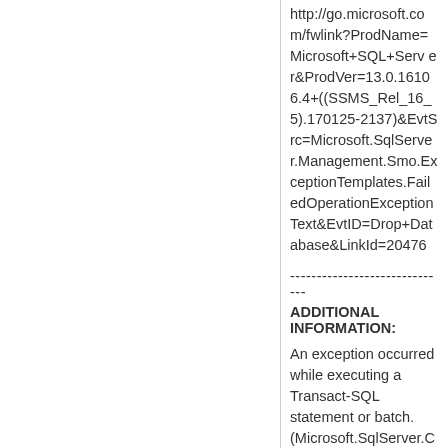http://go.microsoft.com/fwlink?ProdName=Microsoft+SQL+Server&ProdVer=13.0.16106.4+((SSMS_Rel_16_5).170125-2137)&EvtSrc=Microsoft.SqlServer.Management.Smo.ExceptionTemplates.FailedOperationExceptionText&EvtID=Drop+Database&LinkId=20476
------------------------------
ADDITIONAL INFORMATION:
An exception occurred while executing a Transact-SQL statement or batch. (Microsoft.SqlServer.ConnectionInfo)
------------------------------
Unable to open the physical file "C:\Windows\WID\Data\SUSDB.m